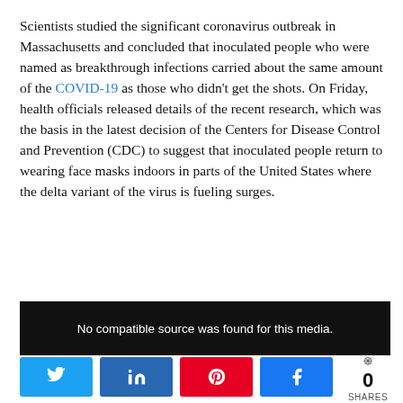Scientists studied the significant coronavirus outbreak in Massachusetts and concluded that inoculated people who were named as breakthrough infections carried about the same amount of the COVID-19 as those who didn't get the shots. On Friday, health officials released details of the recent research, which was the basis in the latest decision of the Centers for Disease Control and Prevention (CDC) to suggest that inoculated people return to wearing face masks indoors in parts of the United States where the delta variant of the virus is fueling surges.
[Figure (screenshot): Black media player box with text: No compatible source was found for this media.]